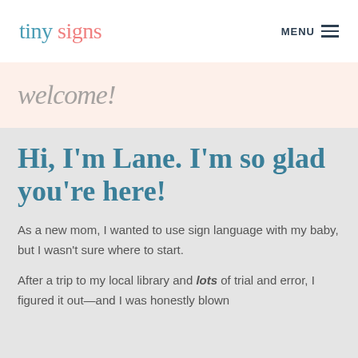tiny signs  MENU
welcome!
Hi, I'm Lane. I'm so glad you're here!
As a new mom, I wanted to use sign language with my baby, but I wasn't sure where to start.
After a trip to my local library and lots of trial and error, I figured it out—and I was honestly blown away by how much I loved it. I felt so connected to